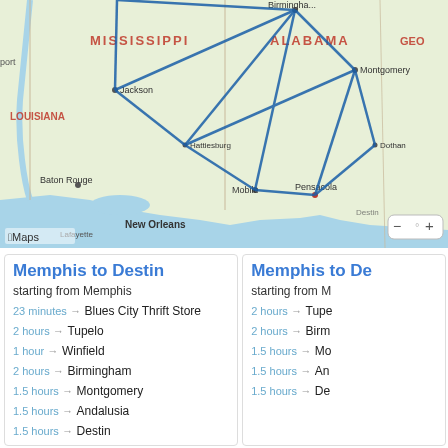[Figure (map): Apple Maps screenshot showing southeastern US states (Mississippi, Alabama, Georgia, Louisiana) with blue route lines connecting cities including Birmingham, Montgomery, Jackson, Hattiesburg, Mobile, Pensacola, New Orleans, Baton Rouge, Lafayette, Dothan, Tallahassee, Destin. Route lines form a network pattern across the region.]
Memphis to Destin
starting from Memphis
23 minutes → Blues City Thrift Store
2 hours → Tupelo
1 hour → Winfield
2 hours → Birmingham
1.5 hours → Montgomery
1.5 hours → Andalusia
1.5 hours → Destin
Memphis to De
starting from M
2 hours → Tupe
2 hours → Birm
1.5 hours → Mo
1.5 hours → An
1.5 hours → De